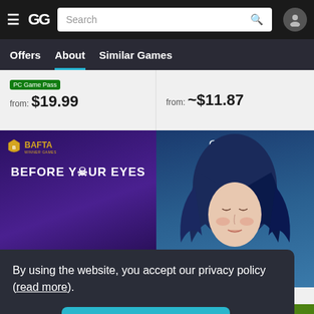GG navigation bar with hamburger menu, logo, search bar, and user icon
Offers  About  Similar Games
PC Game Pass
from: $19.99
from: ~$11.87
[Figure (screenshot): Before Your Eyes game cover: BAFTA Winner Games badge, title 'BEFORE YOUR EYES', ratings 8 GameSpot, 8.5 Game Informer, 9 Game Spew]
[Figure (screenshot): GRIS game cover: artistic illustration of a girl with blue hair, GRIS title at top]
Before Your Eyes
GRIS
By using the website, you accept our privacy policy (read more).
Got it!
[Figure (screenshot): Partial view of Frog Island game cover at the bottom]